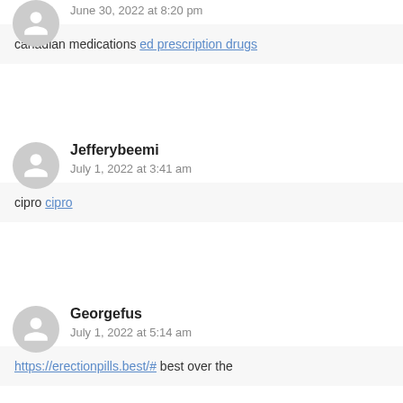June 30, 2022 at 8:20 pm
canadian medications ed prescription drugs
Jefferybeemi
July 1, 2022 at 3:41 am
cipro cipro
Georgefus
July 1, 2022 at 5:14 am
https://erectionpills.best/# best over the